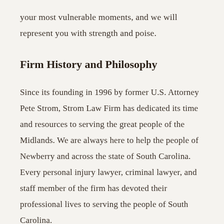your most vulnerable moments, and we will represent you with strength and poise.
Firm History and Philosophy
Since its founding in 1996 by former U.S. Attorney Pete Strom, Strom Law Firm has dedicated its time and resources to serving the great people of the Midlands. We are always here to help the people of Newberry and across the state of South Carolina. Every personal injury lawyer, criminal lawyer, and staff member of the firm has devoted their professional lives to serving the people of South Carolina.